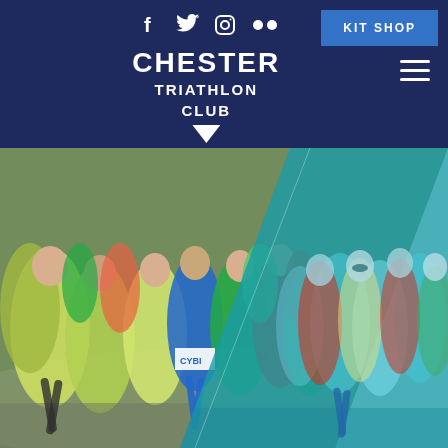Chester Triathlon Club website header
[Figure (screenshot): Chester Triathlon Club website header with dark navy background, social media icons (Facebook, Twitter, Instagram, Flickr), KIT SHOP button, Chester Triathlon Club logo with downward triangle, and hamburger menu icon]
[Figure (photo): Two overlapping photos of runners in a road/cross-country race. Left photo shows runners in natural daylight with yellow-green, blue and red vests. Right photo has a teal/cyan color overlay showing runners in a similar race setting.]